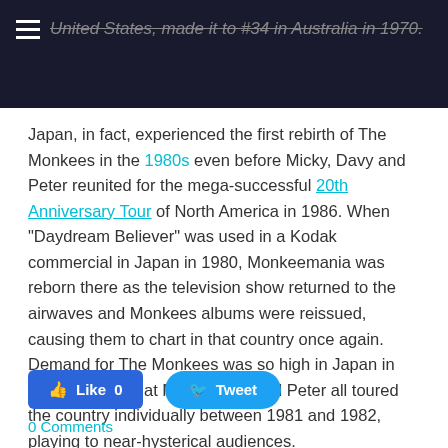United States, made it to #34 in Australia in 1970.
Japan, in fact, experienced the first rebirth of The Monkees in the 1980s even before Micky, Davy and Peter reunited for the mega-successful 20th Anniversary Tour of North America in 1986. When "Daydream Believer" was used in a Kodak commercial in Japan in 1980, Monkeemania was reborn there as the television show returned to the airwaves and Monkees albums were reissued, causing them to chart in that country once again. Demand for The Monkees was so high in Japan in the early '80s that Micky, Davy and Peter all toured the country individually between 1981 and 1982, playing to near-hysterical audiences.
Like 0   Tweet
0 Comments